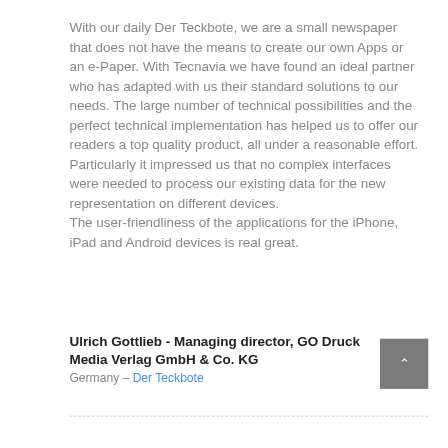With our daily Der Teckbote, we are a small newspaper that does not have the means to create our own Apps or an e-Paper. With Tecnavia we have found an ideal partner who has adapted with us their standard solutions to our needs. The large number of technical possibilities and the perfect technical implementation has helped us to offer our readers a top quality product, all under a reasonable effort. Particularly it impressed us that no complex interfaces were needed to process our existing data for the new representation on different devices.
The user-friendliness of the applications for the iPhone, iPad and Android devices is real great.
Ulrich Gottlieb - Managing director, GO Druck Media Verlag GmbH & Co. KG
Germany – Der Teckbote